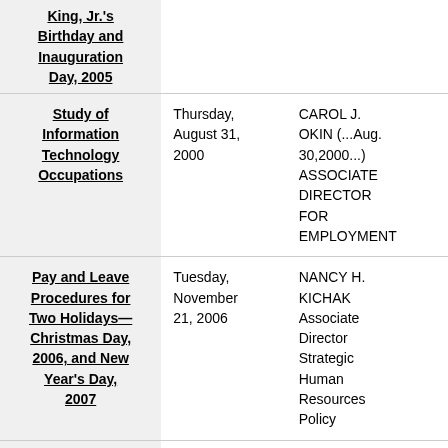| Subject | Date | Author/Title |
| --- | --- | --- |
| King, Jr.'s Birthday and Inauguration Day, 2005 |  |  |
| Study of Information Technology Occupations | Thursday, August 31, 2000 | CAROL J. OKIN (...Aug. 30,2000...) ASSOCIATE DIRECTOR FOR EMPLOYMENT |
| Pay and Leave Procedures for Two Holidays—Christmas Day, 2006, and New Year's Day, 2007 | Tuesday, November 21, 2006 | NANCY H. KICHAK Associate Director Strategic Human Resources Policy |
| Centralized | Monday, | ANA A. |